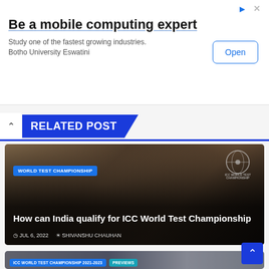[Figure (infographic): Advertisement banner: 'Be a mobile computing expert' with Open button]
Be a mobile computing expert
Study one of the fastest growing industries. Botho University Eswatini
RELATED POST
[Figure (photo): Cricket player photo with ICC World Test Championship overlay. Badge: WORLD TEST CHAMPIONSHIP. Headline: How can India qualify for ICC World Test Championship. Date: JUL 6, 2022. Author: SHIVANSHU CHAUHAN]
ICC WORLD TEST CHAMPIONSHIP 2021-2023
PREVIEWS